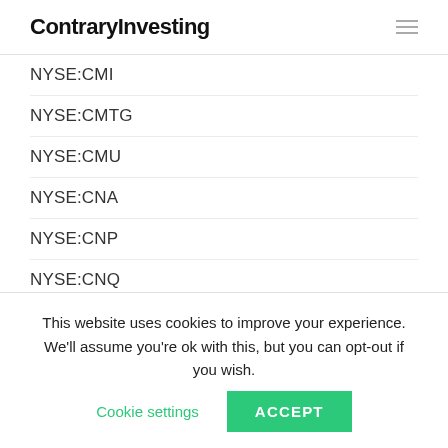ContraryInvesting
NYSE:CMI
NYSE:CMTG
NYSE:CMU
NYSE:CNA
NYSE:CNP
NYSE:CNQ
NYSE:CODI
NYSE:COF
NYSE:COLD
This website uses cookies to improve your experience. We'll assume you're ok with this, but you can opt-out if you wish. Cookie settings ACCEPT